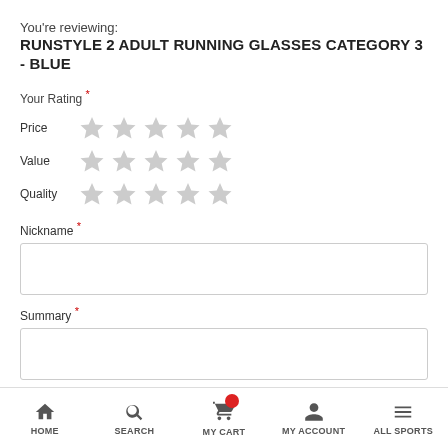You're reviewing:
RUNSTYLE 2 ADULT RUNNING GLASSES CATEGORY 3 - BLUE
Your Rating *
Price ★★★★★
Value ★★★★★
Quality ★★★★★
Nickname *
Summary *
HOME  SEARCH  MY CART  MY ACCOUNT  ALL SPORTS